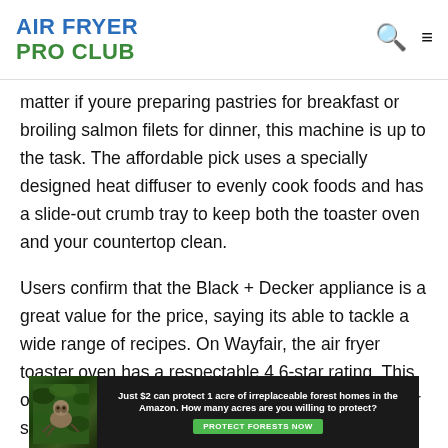AIR FRYER PRO CLUB
matter if youre preparing pastries for breakfast or broiling salmon filets for dinner, this machine is up to the task. The affordable pick uses a specially designed heat diffuser to evenly cook foods and has a slide-out crumb tray to keep both the toaster oven and your countertop clean.

Users confirm that the Black + Decker appliance is a great value for the price, saying its able to tackle a wide range of recipes. On Wayfair, the air fryer toaster oven has a respectable 4.6-star rating. This oven is a great addition to any kitchen, one shopper said. It is small and can handle a decent amount of food. I used mine for buffalo wings and curly fries. Great for snacks and small servings.
[Figure (infographic): Advertisement banner: dark background with rainforest image and sloth. Text reads: 'Just $2 can protect 1 acre of irreplaceable forest homes in the Amazon. How many acres are you willing to protect?' with a green 'PROTECT FORESTS NOW' button.]